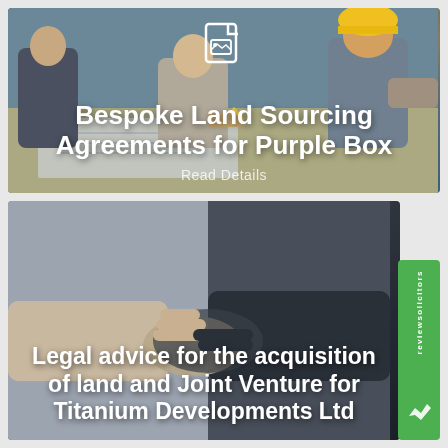[Figure (photo): Photo of people looking at architectural blueprints/plans on a table, with a person in a hard hat visible, overlaid with a document icon and card title text]
Bespoke Land Sourcing Agreements for Purple Box
Read Details
[Figure (photo): Photo of a handshake between two people in business attire, representing a business or legal agreement]
Legal advice for the acquisition of land and Joint Venture for Titanium Developments Ltd